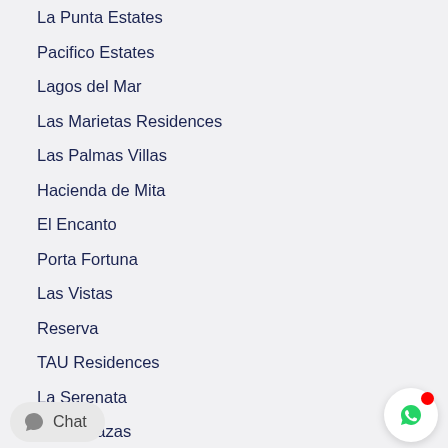La Punta Estates
Pacifico Estates
Lagos del Mar
Las Marietas Residences
Las Palmas Villas
Hacienda de Mita
El Encanto
Porta Fortuna
Las Vistas
Reserva
TAU Residences
La Serenata
Las Terrazas
Four Seasons Private Villas
Four Seasons Punta Mita
St. Regis Punta Mita